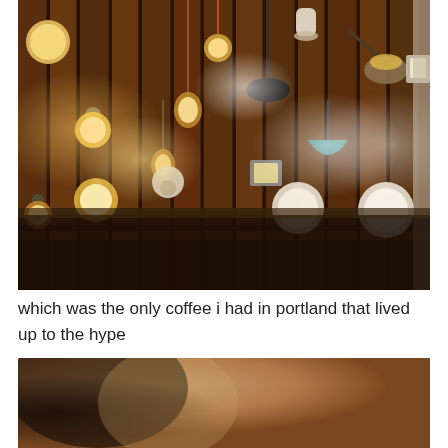[Figure (photo): Interior photo of a coffee shop wall made of wooden pallets with many different types of light fixtures and bulbs mounted on it — wall sconces, pendant lights, globe bulbs, industrial lamps, vintage bulbs in various styles. Warm amber lighting. A railing is visible in the lower portion.]
which was the only coffee i had in portland that lived up to the hype
[Figure (photo): Partial photo, blurred/soft focus, showing warm brown and tan tones. Appears to be a close-up of a coffee-related subject, partially cut off at bottom of page.]